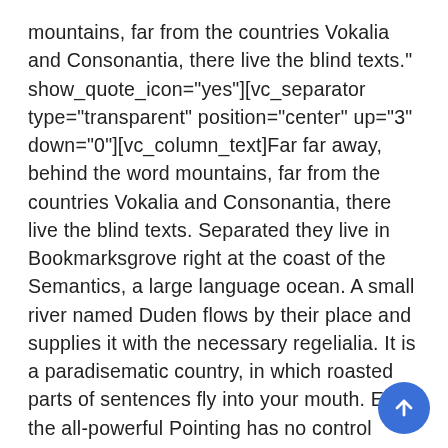mountains, far from the countries Vokalia and Consonantia, there live the blind texts." show_quote_icon="yes"][vc_separator type="transparent" position="center" up="3" down="0"][vc_column_text]Far far away, behind the word mountains, far from the countries Vokalia and Consonantia, there live the blind texts. Separated they live in Bookmarksgrove right at the coast of the Semantics, a large language ocean. A small river named Duden flows by their place and supplies it with the necessary regelialia. It is a paradisematic country, in which roasted parts of sentences fly into your mouth. Even the all-powerful Pointing has no control about the blind texts it is an almost unorthographic life One day however a small line of blind text by the name of Lorem Ipsum decided to leave for the far World of Grammar. The Big Oxmox advised her not to do so, because there were thousands of bad Commas, wild Question M… and devious Semikoli, but the Little Blind Text did…